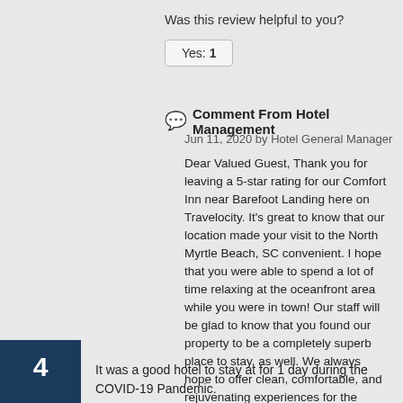Was this review helpful to you?
Yes: 1
Comment From Hotel Management
Jun 11, 2020 by Hotel General Manager
Dear Valued Guest, Thank you for leaving a 5-star rating for our Comfort Inn near Barefoot Landing here on Travelocity. It's great to know that our location made your visit to the North Myrtle Beach, SC convenient. I hope that you were able to spend a lot of time relaxing at the oceanfront area while you were in town! Our staff will be glad to know that you found our property to be a completely superb place to stay, as well. We always hope to offer clean, comfortable, and rejuvenating experiences for the travelers who choose our hotel to serve as their lodging provider. I hope you'll be able to plan a return visit to this part of the Grand Strand soon. We'd love to have you back here for another wonderful getaway stay! Regards, Nishant Patel
4
It was a good hotel to stay at for 1 day during the COVID-19 Pandemic.